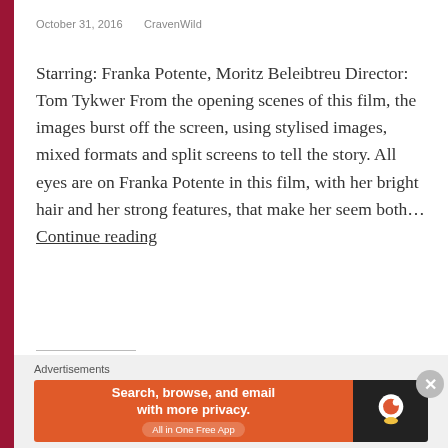October 31, 2016   CravenWild
Starring: Franka Potente, Moritz Beleibtreu Director: Tom Tykwer From the opening scenes of this film, the images burst off the screen, using stylised images, mixed formats and split screens to tell the story. All eyes are on Franka Potente in this film, with her bright hair and her strong features, that make her seem both… Continue reading
Share this:
Twitter  Facebook  Email  Pinterest
[Figure (screenshot): Like button and a row of user avatar thumbnails]
Advertisements
[Figure (screenshot): DuckDuckGo advertisement banner: Search, browse, and email with more privacy. All in One Free App]